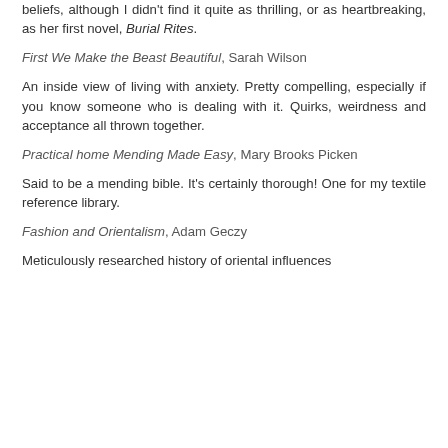beliefs, although I didn't find it quite as thrilling, or as heartbreaking, as her first novel, Burial Rites.
First We Make the Beast Beautiful, Sarah Wilson
An inside view of living with anxiety. Pretty compelling, especially if you know someone who is dealing with it. Quirks, weirdness and acceptance all thrown together.
Practical home Mending Made Easy, Mary Brooks Picken
Said to be a mending bible. It's certainly thorough! One for my textile reference library.
Fashion and Orientalism, Adam Geczy
Meticulously researched history of oriental influences on...